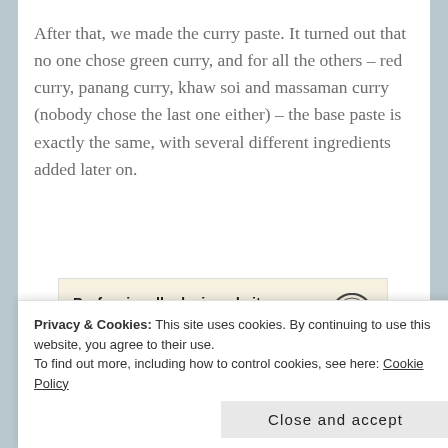After that, we made the curry paste. It turned out that no one chose green curry, and for all the others – red curry, panang curry, khaw soi and massaman curry (nobody chose the last one either) – the base paste is exactly the same, with several different ingredients added later on.
[Figure (other): WordPress advertisement banner: 'Professionally designed sites in less than a week' with WordPress logo]
[Figure (photo): Partial photo of food/ingredients, cut off at bottom of visible area]
Privacy & Cookies: This site uses cookies. By continuing to use this website, you agree to their use.
To find out more, including how to control cookies, see here: Cookie Policy
Close and accept